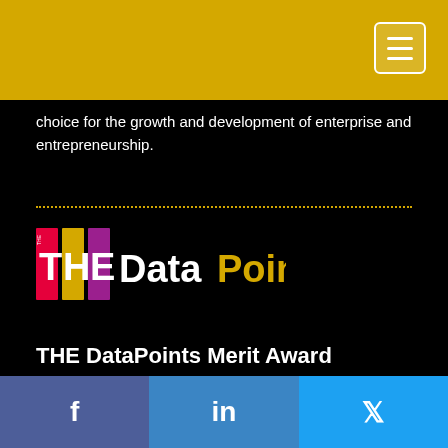choice for the growth and development of enterprise and entrepreneurship.
[Figure (logo): THE DataPoints logo with colorful vertical bars spelling THE and DataPoints text in white and gold]
THE DataPoints Merit Award
Facebook | LinkedIn | Twitter social sharing buttons